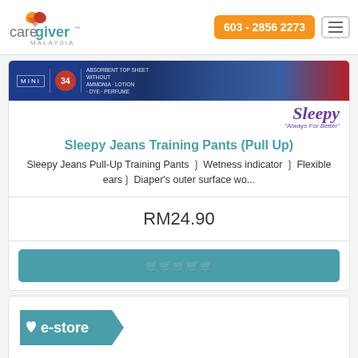[Figure (logo): Caregiver Malaysia logo with two hearts and the text 'caregiver MALAYSIA']
603 - 2856 2273
[Figure (photo): Sleepy Jeans Training Pants product image bar with MINI text and 34 count badge, and Sleepy logo with 'Always For Better' tagline]
Sleepy Jeans Training Pants (Pull Up)
Sleepy Jeans Pull-Up Training Pants ✔ Wetness indicator ✔ Flexible ears✔ Diaper's outer surface wo...
RM24.90
🛒🛒🛒🛒🛒
[Figure (logo): e-store badge with heart icon]